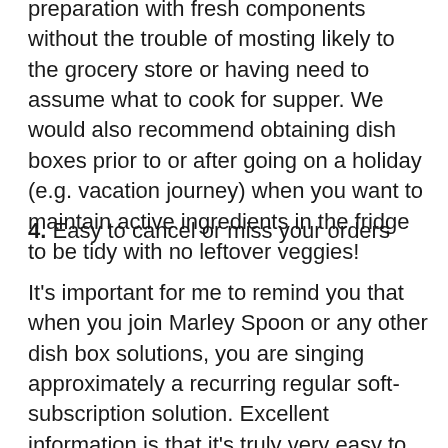preparation with fresh components without the trouble of mosting likely to the grocery store or having need to assume what to cook for supper. We would also recommend obtaining dish boxes prior to or after going on a holiday (e.g. vacation journey) when you want to maintain active ingredients in the fridge to be tidy with no leftover veggies!
4. Easy to cancel or miss your orders
It's important for me to remind you that when you join Marley Spoon or any other dish box solutions, you are singing approximately a recurring regular soft-subscription solution. Excellent information is that it's truly very easy to avoid or cancel your once a week subscription. You can do all